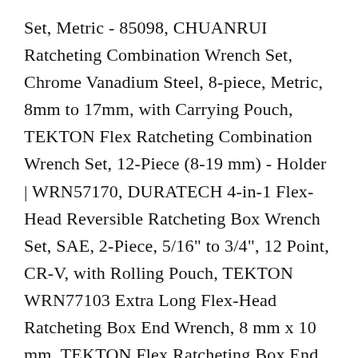Set, Metric - 85098, CHUANRUI Ratcheting Combination Wrench Set, Chrome Vanadium Steel, 8-piece, Metric, 8mm to 17mm, with Carrying Pouch, TEKTON Flex Ratcheting Combination Wrench Set, 12-Piece (8-19 mm) - Holder | WRN57170, DURATECH 4-in-1 Flex-Head Reversible Ratcheting Box Wrench Set, SAE, 2-Piece, 5/16" to 3/4", 12 Point, CR-V, with Rolling Pouch, TEKTON WRN77103 Extra Long Flex-Head Ratcheting Box End Wrench, 8 mm x 10 mm, TEKTON Flex Ratcheting Box End Wrench Set, 6-Piece (8-19 mm) - Holder | WRN76164, Yashong 20-Piece SAE & Metric Ratcheting Wrench Set, Professional Chrome Vanadium Steel Combination Ended Standard Kit with Portable Suspended Canvas Bag